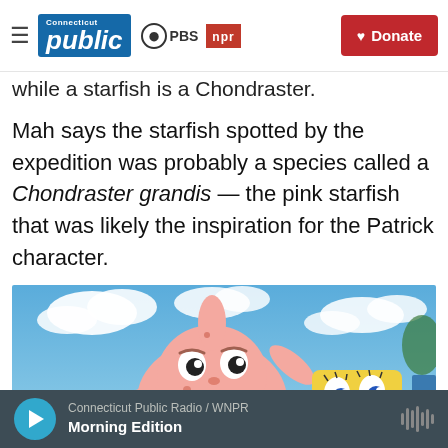Connecticut Public | PBS | NPR | Donate
while a starfish is a Chondraster.
Mah says the starfish spotted by the expedition was probably a species called a Chondraster grandis — the pink starfish that was likely the inspiration for the Patrick character.
[Figure (photo): Patrick Star and SpongeBob SquarePants character costumes/statues photographed against a blue sky with clouds.]
Connecticut Public Radio / WNPR — Morning Edition